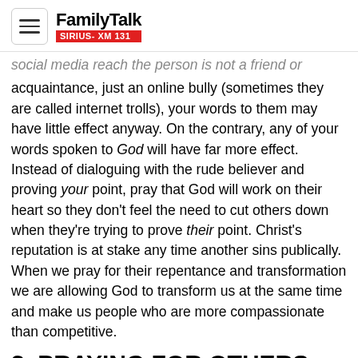FamilyTalk SIRIUS-XM 131
social media reach the person is not a friend or acquaintance, just an online bully (sometimes they are called internet trolls), your words to them may have little effect anyway. On the contrary, any of your words spoken to God will have far more effect. Instead of dialoguing with the rude believer and proving your point, pray that God will work on their heart so they don't feel the need to cut others down when they're trying to prove their point. Christ's reputation is at stake any time another sins publically. When we pray for their repentance and transformation we are allowing God to transform us at the same time and make us people who are more compassionate than competitive.
3. PRAYING FOR OTHERS SOFTENS OUR HEARTS TOWARD THEM.